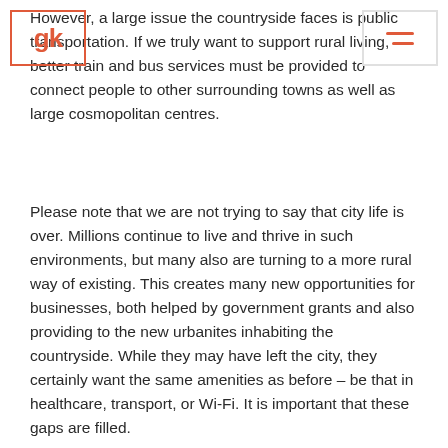gk [logo] [hamburger menu]
However, a large issue the countryside faces is public transportation. If we truly want to support rural living, better train and bus services must be provided to connect people to other surrounding towns as well as large cosmopolitan centres.
Please note that we are not trying to say that city life is over. Millions continue to live and thrive in such environments, but many also are turning to a more rural way of existing. This creates many new opportunities for businesses, both helped by government grants and also providing to the new urbanites inhabiting the countryside. While they may have left the city, they certainly want the same amenities as before – be that in healthcare, transport, or Wi-Fi. It is important that these gaps are filled.